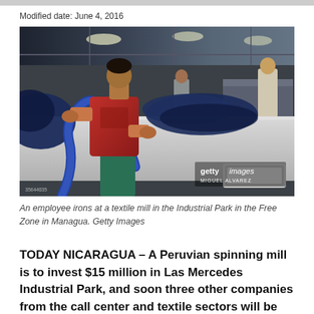Modified date: June 4, 2016
[Figure (photo): A factory worker in a red t-shirt irons denim jeans at a textile mill. Multiple sewing machines and workers visible in background of a large industrial warehouse space. Getty Images watermark visible.]
An employee irons at a textile mill in the Industrial Park in the Free Zone in Managua. Getty Images
TODAY NICARAGUA – A Peruvian spinning mill is to invest $15 million in Las Mercedes Industrial Park, and soon three other companies from the call center and textile sectors will be setting